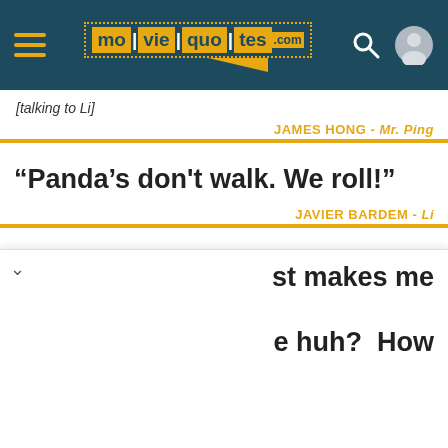moviequotes.com
[talking to Li]
JAMES HONG - Mr. Ping
“Panda’s don't walk. We roll!”
JAVIER BARDEM - Li
“- Kai: You must be the Dragon Warrior.
  Po: And you must be Kai. Beast of
st makes me
e huh? How